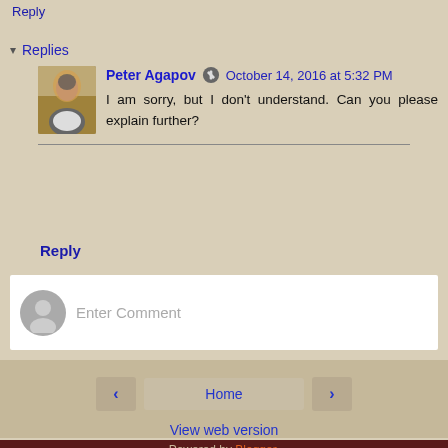Reply
▾ Replies
Peter Agapov [edit icon] October 14, 2016 at 5:32 PM
I am sorry, but I don't understand. Can you please explain further?
Reply
Enter Comment
Home | View web version | Powered by Blogger.